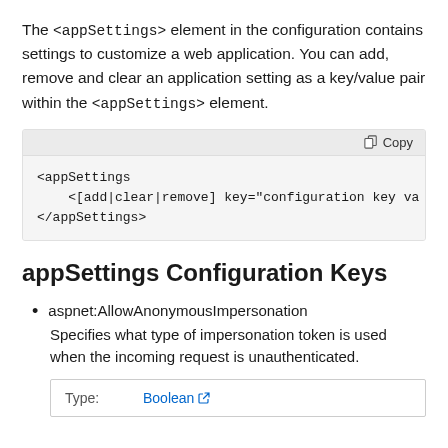The <appSettings> element in the configuration contains settings to customize a web application. You can add, remove and clear an application setting as a key/value pair within the <appSettings> element.
[Figure (screenshot): Code block showing XML syntax: <appSettings> with child element <[add|clear|remove] key="configuration key va and </appSettings>]
appSettings Configuration Keys
aspnet:AllowAnonymousImpersonation
Specifies what type of impersonation token is used when the incoming request is unauthenticated.
| Type: | Boolean |
| --- | --- |